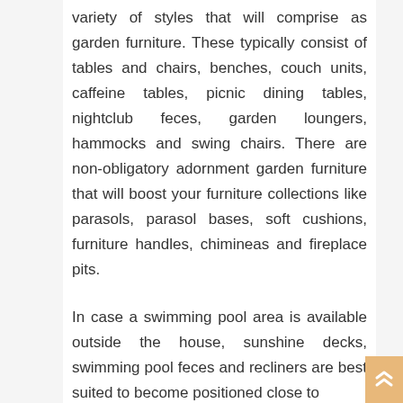variety of styles that will comprise as garden furniture. These typically consist of tables and chairs, benches, couch units, caffeine tables, picnic dining tables, nightclub feces, garden loungers, hammocks and swing chairs. There are non-obligatory adornment garden furniture that will boost your furniture collections like parasols, parasol bases, soft cushions, furniture handles, chimineas and fireplace pits.
In case a swimming pool area is available outside the house, sunshine decks, swimming pool feces and recliners are best suited to become positioned close to